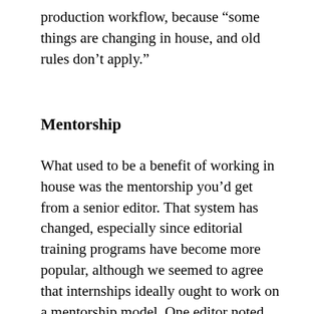production workflow, because “some things are changing in house, and old rules don’t apply.”
Mentorship
What used to be a benefit of working in house was the mentorship you’d get from a senior editor. That system has changed, especially since editorial training programs have become more popular, although we seemed to agree that internships ideally ought to work on a mentorship model. One editor noted that we need mentorship in both directions: we can teach more junior editors editorial skills, while